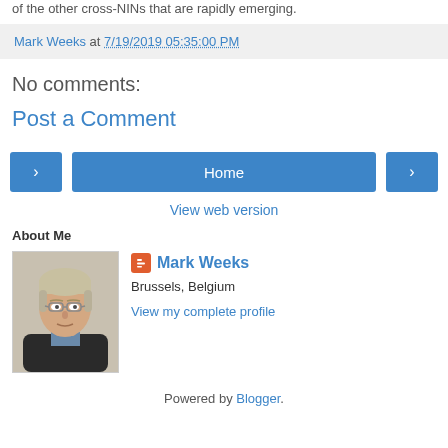of the other cross-NINs that are rapidly emerging.
Mark Weeks at 7/19/2019 05:35:00 PM
No comments:
Post a Comment
‹  Home  ›
View web version
About Me
[Figure (photo): Profile photo of Mark Weeks, a man with gray/blonde hair and glasses, wearing a dark sweater]
Mark Weeks
Brussels, Belgium
View my complete profile
Powered by Blogger.